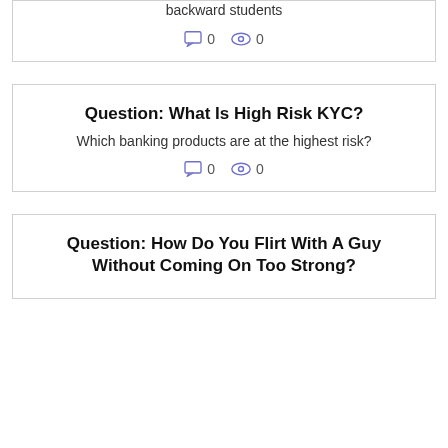backward students
0  0
Question: What Is High Risk KYC?
Which banking products are at the highest risk?
0  0
Question: How Do You Flirt With A Guy Without Coming On Too Strong?